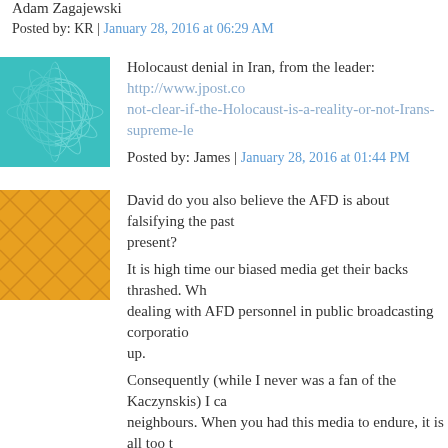Adam Zagajewski
Posted by: KR | January 28, 2016 at 06:29 AM
Holocaust denial in Iran, from the leader: http://www.jpost.co... not-clear-if-the-Holocaust-is-a-reality-or-not-Irans-supreme-le...
Posted by: James | January 28, 2016 at 01:44 PM
David do you also believe the AFD is about falsifying the past... present?
It is high time our biased media get their backs thrashed. Who... dealing with AFD personnel in public broadcasting corporatio... up.
Consequently (while I never was a fan of the Kaczynskis) I cam... neighbours. When you had this media to endure, it is all too t... blow from a different direction :)
Posted by: Zyme | January 29, 2016 at 06:25 PM
POST A COMMENT
Comment below or sign in with Typepad Facebook Twitter an...